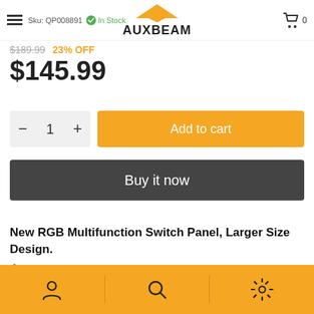Sku: QP008891  ✓ In Stock  AUXBEAM  Cart: 0
$189.99  23% OFF
$145.99
− 1 +  Add to cart
Buy it now
New RGB Multifunction Switch Panel, Larger Size Design.
⬡ Learn More
User icon | Search icon | Settings icon